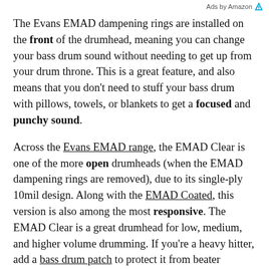Ads by Amazon
The Evans EMAD dampening rings are installed on the front of the drumhead, meaning you can change your bass drum sound without needing to get up from your drum throne. This is a great feature, and also means that you don't need to stuff your bass drum with pillows, towels, or blankets to get a focused and punchy sound.
Across the Evans EMAD range, the EMAD Clear is one of the more open drumheads (when the EMAD dampening rings are removed), due to its single-ply 10mil design. Along with the EMAD Coated, this version is also among the most responsive. The EMAD Clear is a great drumhead for low, medium, and higher volume drumming. If you're a heavy hitter, add a bass drum patch to protect it from beater damage. Overall, the Evans EMAD Clear is an extremely versatile bass